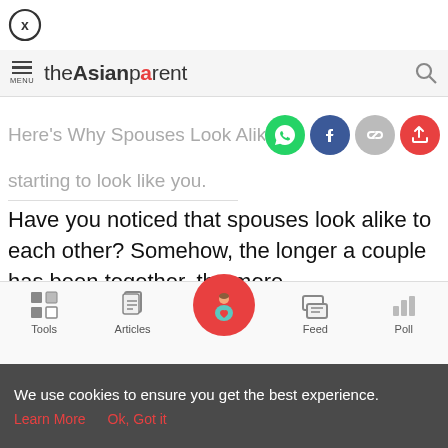[Figure (logo): Close button with X inside circle]
theAsianparent
Here's Why Spouses Look Alike After
starting to look like you.
Have you noticed that spouses look alike to each other? Somehow, the longer a couple has been together, the more
Tools  Articles  Feed  Poll
We use cookies to ensure you get the best experience.
Learn More    Ok, Got it